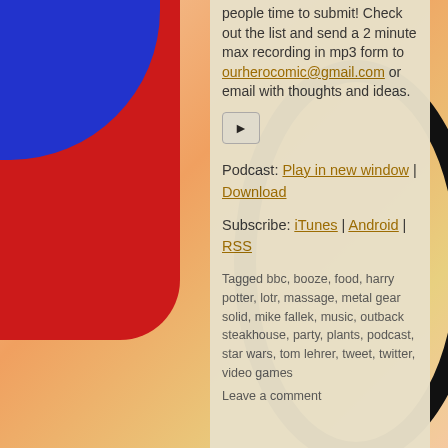people time to submit! Check out the list and send a 2 minute max recording in mp3 form to ourherocomic@gmail.com or email with thoughts and ideas.
[Figure (other): Play button icon]
Podcast: Play in new window | Download
Subscribe: iTunes | Android | RSS
Tagged bbc, booze, food, harry potter, lotr, massage, metal gear solid, mike fallek, music, outback steakhouse, party, plants, podcast, star wars, tom lehrer, tweet, twitter, video games
Leave a comment